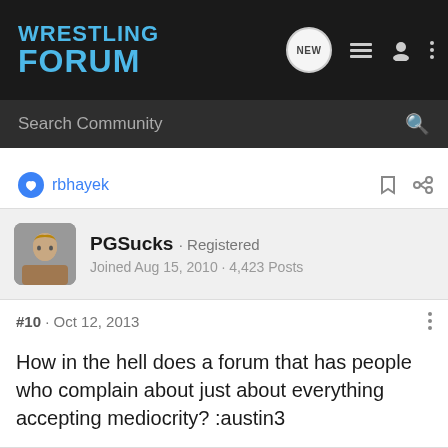[Figure (logo): Wrestling Forum logo in blue bold text on dark background with navigation icons]
Search Community
rbhayek
PGSucks · Registered
Joined Aug 15, 2010 · 4,423 Posts
#10 · Oct 12, 2013
How in the hell does a forum that has people who complain about just about everything accepting mediocrity? :austin3